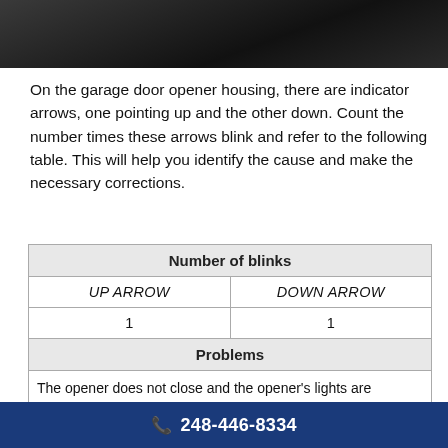[Figure (photo): Dark photograph of a garage door opener housing]
On the garage door opener housing, there are indicator arrows, one pointing up and the other down. Count the number times these arrows blink and refer to the following table. This will help you identify the cause and make the necessary corrections.
| Number of blinks |  |
| --- | --- |
| UP ARROW | DOWN ARROW |
| 1 | 1 |
| Problems |  |
| The opener does not close and the opener's lights are flashing. |  |
📞 248-446-8334